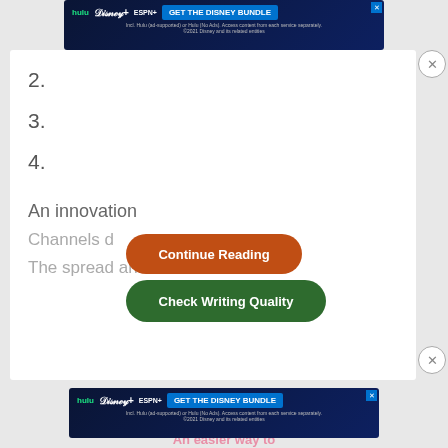[Figure (screenshot): Hulu Disney+ ESPN+ 'GET THE DISNEY BUNDLE' advertisement banner at top]
2.
3.
4.
An innovation
Channels d
The spread and
[Figure (screenshot): 'Continue Reading' orange button overlay]
[Figure (screenshot): 'Check Writing Quality' green button overlay]
[Figure (screenshot): Hulu Disney+ ESPN+ 'GET THE DISNEY BUNDLE' advertisement banner at bottom]
An easier way to